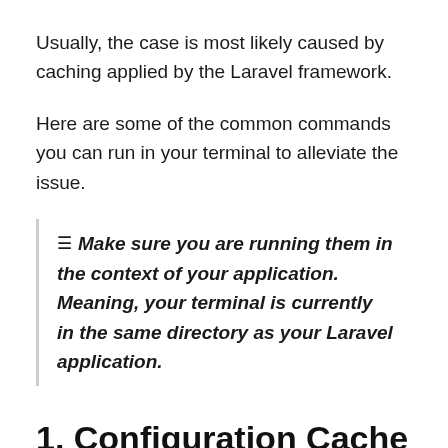Usually, the case is most likely caused by caching applied by the Laravel framework.
Here are some of the common commands you can run in your terminal to alleviate the issue.
≡ Make sure you are running them in the context of your application. Meaning, your terminal is currently in the same directory as your Laravel application.
1. Configuration Cache